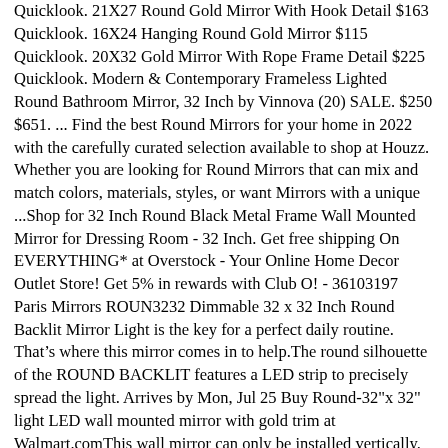Quicklook. 21X27 Round Gold Mirror With Hook Detail $163 Quicklook. 16X24 Hanging Round Gold Mirror $115 Quicklook. 20X32 Gold Mirror With Rope Frame Detail $225 Quicklook. Modern & Contemporary Frameless Lighted Round Bathroom Mirror, 32 Inch by Vinnova (20) SALE. $250 $651. ... Find the best Round Mirrors for your home in 2022 with the carefully curated selection available to shop at Houzz. Whether you are looking for Round Mirrors that can mix and match colors, materials, styles, or want Mirrors with a unique ...Shop for 32 Inch Round Black Metal Frame Wall Mounted Mirror for Dressing Room - 32 Inch. Get free shipping On EVERYTHING* at Overstock - Your Online Home Decor Outlet Store! Get 5% in rewards with Club O! - 36103197 Paris Mirrors ROUN3232 Dimmable 32 x 32 Inch Round Backlit Mirror Light is the key for a perfect daily routine. That’s where this mirror comes in to help.The round silhouette of the ROUND BACKLIT features a LED strip to precisely spread the light. Arrives by Mon, Jul 25 Buy Round-32"x 32" light LED wall mounted mirror with gold trim at Walmart.comThis wall mirror can only be installed vertically. 32" wide x 32" high x 3/4" deep. Hang weight is 17.6 lbs. Glass only section is 27" wide x 27" high. Surrounding frame is 2 1/2" wide. Scalloped round wall mirror from Noble Park. Vertical installation only. D-ring brackets on the back. Champagne with warm wash finish. The 32-Inch Round Decorative Wall Mirror from Project 62™ will add instant style and dimension to your space. Stylishly encased in a sleek rim, the round reflective mirror adds an elegant...